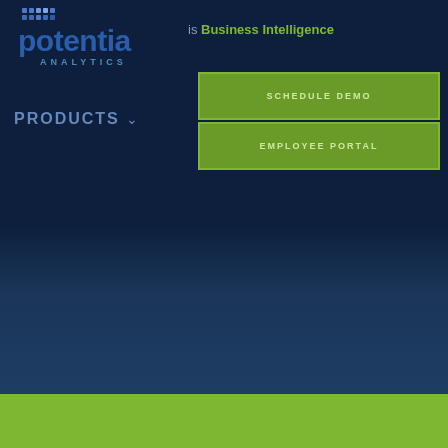[Figure (logo): Potentia Analytics logo with dot grid pattern, blue text reading 'potentia' and 'ANALYTICS']
is Business Intelligence
SCHEDULE DEMO
EMPLOYEE PORTAL
PRODUCTS ∨